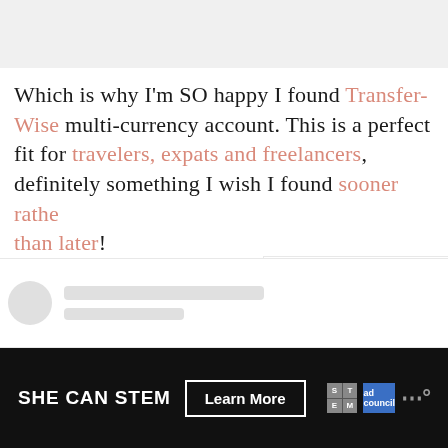[Figure (screenshot): Gray placeholder image area at top of page]
Which is why I'm SO happy I found Transfer-Wise multi-currency account. This is a perfect fit for travelers, expats and freelancers, definitely something I wish I found sooner rather than later!
[Figure (screenshot): What's Next card showing 'Your Ultimate London...' with building thumbnail]
[Figure (screenshot): Bottom card with avatar and text line placeholders]
[Figure (infographic): SHE CAN STEM advertisement banner with Learn More button, STEM logo, Ad Council logo, and Meredith logo on black background]